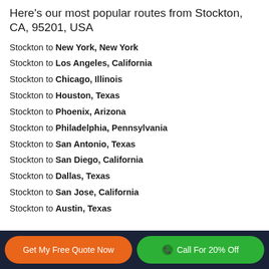Here's our most popular routes from Stockton, CA, 95201, USA
Stockton to New York, New York
Stockton to Los Angeles, California
Stockton to Chicago, Illinois
Stockton to Houston, Texas
Stockton to Phoenix, Arizona
Stockton to Philadelphia, Pennsylvania
Stockton to San Antonio, Texas
Stockton to San Diego, California
Stockton to Dallas, Texas
Stockton to San Jose, California
Stockton to Austin, Texas
Get My Free Quote Now | Call For 20% Off